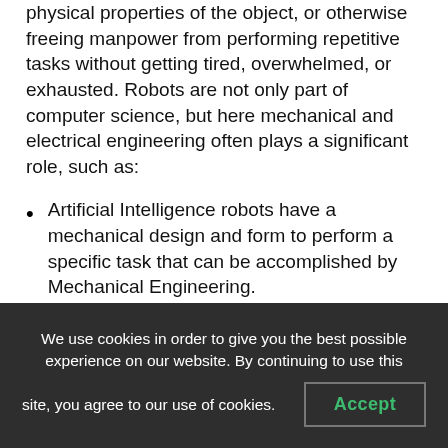physical properties of the object, or otherwise freeing manpower from performing repetitive tasks without getting tired, overwhelmed, or exhausted. Robots are not only part of computer science, but here mechanical and electrical engineering often plays a significant role, such as:
Artificial Intelligence robots have a mechanical design and form to perform a specific task that can be accomplished by Mechanical Engineering.
We use cookies in order to give you the best possible experience on our website. By continuing to use this site, you agree to our use of cookies.